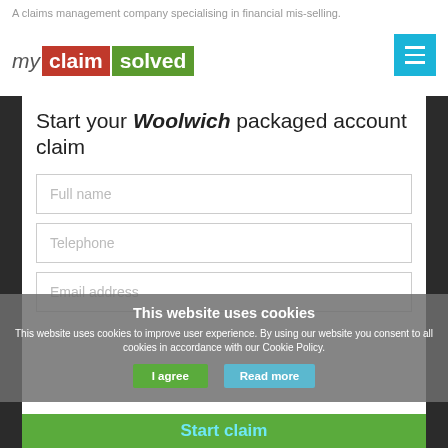A claims management company specialising in financial mis-selling.
[Figure (logo): My Claim Solved logo with red background for 'claim' and green background for 'solved']
Start your Woolwich packaged account claim
Full name (form field placeholder)
Telephone (form field placeholder)
Email address (form field placeholder)
This website uses cookies
This website uses cookies to improve user experience. By using our website you consent to all cookies in accordance with our Cookie Policy.
Start claim